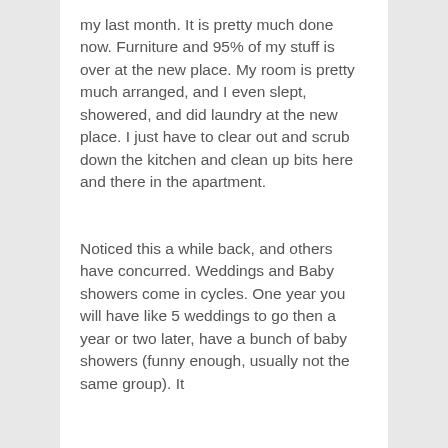my last month. It is pretty much done now. Furniture and 95% of my stuff is over at the new place. My room is pretty much arranged, and I even slept, showered, and did laundry at the new place. I just have to clear out and scrub down the kitchen and clean up bits here and there in the apartment.
Noticed this a while back, and others have concurred. Weddings and Baby showers come in cycles. One year you will have like 5 weddings to go then a year or two later, have a bunch of baby showers (funny enough, usually not the same group). It